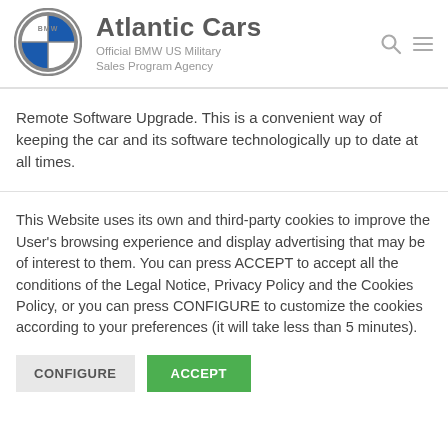[Figure (logo): BMW logo — circular emblem with four blue and white quadrants, grey ring with BMW text]
Atlantic Cars
Official BMW US Military Sales Program Agency
Remote Software Upgrade. This is a convenient way of keeping the car and its software technologically up to date at all times.
This Website uses its own and third-party cookies to improve the User's browsing experience and display advertising that may be of interest to them. You can press ACCEPT to accept all the conditions of the Legal Notice, Privacy Policy and the Cookies Policy, or you can press CONFIGURE to customize the cookies according to your preferences (it will take less than 5 minutes).
CONFIGURE | ACCEPT